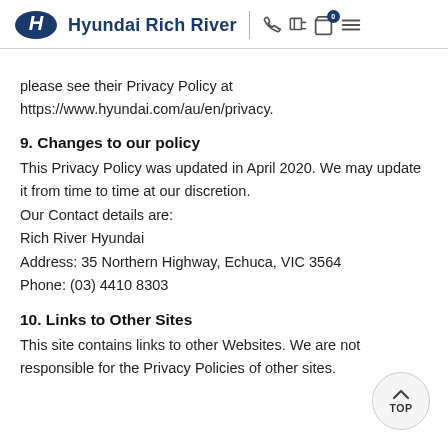Hyundai Rich River
please see their Privacy Policy at https://www.hyundai.com/au/en/privacy.
9. Changes to our policy
This Privacy Policy was updated in April 2020. We may update it from time to time at our discretion.
Our Contact details are:
Rich River Hyundai
Address: 35 Northern Highway, Echuca, VIC 3564
Phone: (03) 4410 8303
10. Links to Other Sites
This site contains links to other Websites. We are not responsible for the Privacy Policies of other sites.